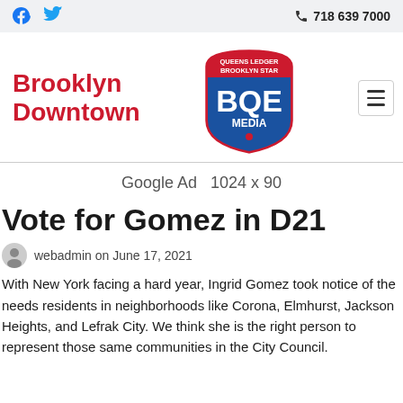718 639 7000
Brooklyn Downtown
[Figure (logo): BQE Media shield logo with Queens Ledger and Brooklyn Star text]
Google Ad  1024 x 90
Vote for Gomez in D21
webadmin on June 17, 2021
With New York facing a hard year, Ingrid Gomez took notice of the needs residents in neighborhoods like Corona, Elmhurst, Jackson Heights, and Lefrak City. We think she is the right person to represent those same communities in the City Council.